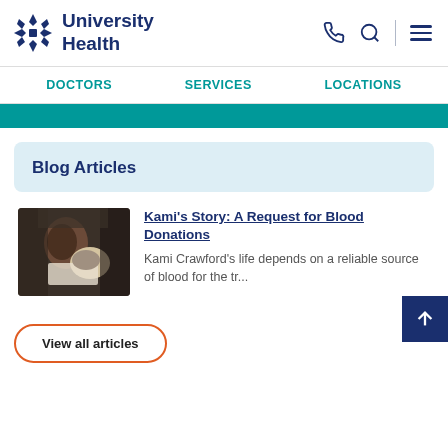[Figure (logo): University Health logo with star/diamond icon and navy blue text]
DOCTORS   SERVICES   LOCATIONS
Blog Articles
[Figure (photo): A patient, appearing to be a child, receiving medical treatment]
Kami's Story: A Request for Blood Donations
Kami Crawford's life depends on a reliable source of blood for the tr...
View all articles